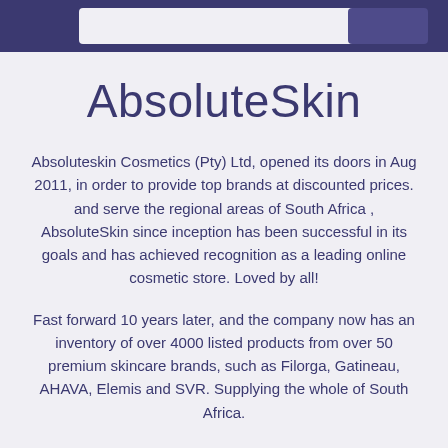[Figure (other): Dark navy/purple header banner with a light search bar in the center and a button on the right]
AbsoluteSkin
Absoluteskin Cosmetics (Pty) Ltd, opened its doors in Aug 2011, in order to provide top brands at discounted prices. and serve the regional areas of South Africa , AbsoluteSkin since inception has been successful in its goals and has achieved recognition as a leading online cosmetic store. Loved by all!
Fast forward 10 years later, and the company now has an inventory of over 4000 listed products from over 50 premium skincare brands, such as Filorga, Gatineau, AHAVA, Elemis and SVR. Supplying the whole of South Africa.